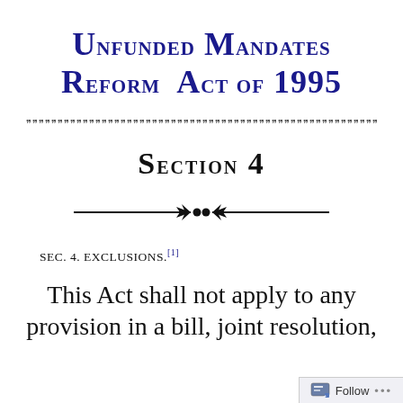Unfunded Mandates Reform Act of 1995
Section 4
SEC. 4. EXCLUSIONS.[1]
This Act shall not apply to any provision in a bill, joint resolution,